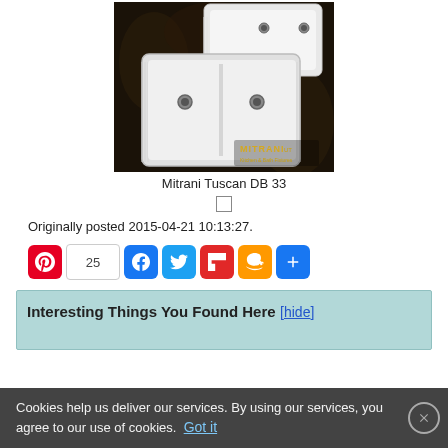[Figure (photo): Photo of two white ceramic farmhouse sinks (Mitrani Tuscan DB 33) on dark patterned background with Mitrani logo]
Mitrani Tuscan DB 33
Originally posted 2015-04-21 10:13:27.
[Figure (infographic): Social sharing buttons: Pinterest with count 25, Facebook, Twitter, Flipboard, Amazon, More]
Interesting Things You Found Here [hide]
Cookies help us deliver our services. By using our services, you agree to our use of cookies. Got it